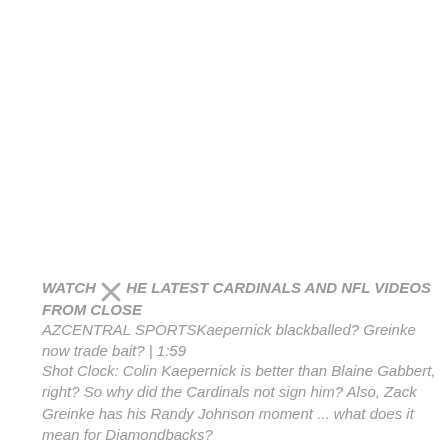WATCH THE LATEST CARDINALS AND NFL VIDEOS FROM CLOSE AZCENTRAL SPORTSKaepernick blackballed? Greinke now trade bait? | 1:59
Shot Clock: Colin Kaepernick is better than Blaine Gabbert, right? So why did the Cardinals not sign him? Also, Zack Greinke has his Randy Johnson moment ... what does it mean for Diamondbacks?